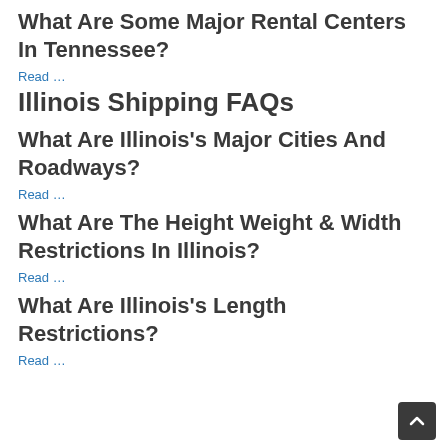What Are Some Major Rental Centers In Tennessee?
Read …
Illinois Shipping FAQs
What Are Illinois's Major Cities And Roadways?
Read …
What Are The Height Weight & Width Restrictions In Illinois?
Read …
What Are Illinois's Length Restrictions?
Read …